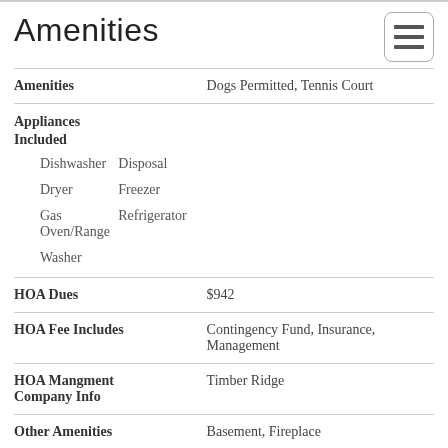Amenities
| Field | Value |
| --- | --- |
| Amenities | Dogs Permitted, Tennis Court |
| Appliances Included | Dishwasher, Disposal, Dryer, Freezer, Gas Oven/Range, Refrigerator, Washer |
| HOA Dues | $942 |
| HOA Fee Includes | Contingency Fund, Insurance, Management |
| HOA Mangment Company Info | Timber Ridge |
| Other Amenities | Basement, Fireplace |